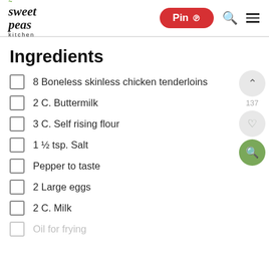sweet peas kitchen | Pin | search | menu
Ingredients
8 Boneless skinless chicken tenderloins
2 C. Buttermilk
3 C. Self rising flour
1 ½ tsp. Salt
Pepper to taste
2 Large eggs
2 C. Milk
Oil for frying